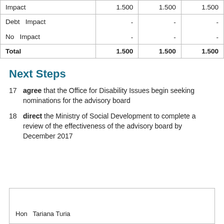|  |  |  |  |
| --- | --- | --- | --- |
| Impact | 1.500 | 1.500 | 1.500 |
| Debt  Impact | - | - | - |
| No  Impact | - | - | - |
| Total | 1.500 | 1.500 | 1.500 |
Next Steps
17   agree that the Office for Disability Issues begin seeking nominations for the advisory board
18   direct the Ministry of Social Development to complete a review of the effectiveness of the advisory board by December 2017
Hon  Tariana Turia